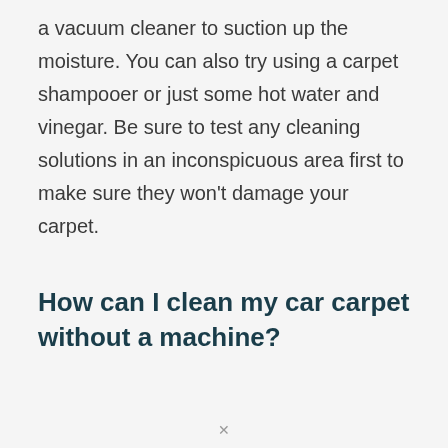a vacuum cleaner to suction up the moisture. You can also try using a carpet shampooer or just some hot water and vinegar. Be sure to test any cleaning solutions in an inconspicuous area first to make sure they won't damage your carpet.
How can I clean my car carpet without a machine?